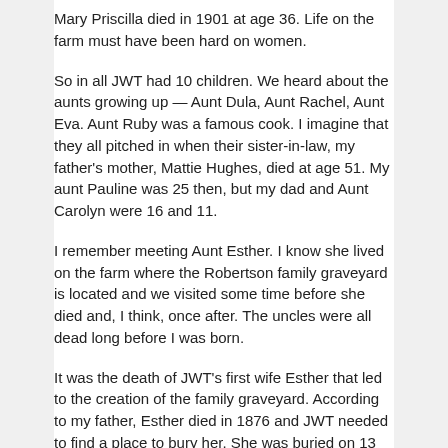Mary Priscilla died in 1901 at age 36. Life on the farm must have been hard on women.
So in all JWT had 10 children. We heard about the aunts growing up — Aunt Dula, Aunt Rachel, Aunt Eva. Aunt Ruby was a famous cook. I imagine that they all pitched in when their sister-in-law, my father's mother, Mattie Hughes, died at age 51. My aunt Pauline was 25 then, but my dad and Aunt Carolyn were 16 and 11.
I remember meeting Aunt Esther. I know she lived on the farm where the Robertson family graveyard is located and we visited some time before she died and, I think, once after. The uncles were all dead long before I was born.
It was the death of JWT's first wife Esther that led to the creation of the family graveyard. According to my father, Esther died in 1876 and JWT needed to find a place to bury her. She was buried on 13 April 1876 in an area on the family farm in Tyaskin.